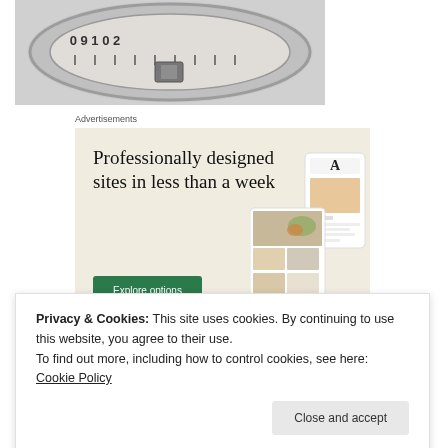[Figure (photo): Close-up photograph of a clock or dial face showing numbers, metallic circular detail]
Advertisements
[Figure (screenshot): Advertisement banner with beige background reading 'Professionally designed sites in less than a week' with a green 'Explore options' button and mockup screenshots of websites]
Privacy & Cookies: This site uses cookies. By continuing to use this website, you agree to their use.
To find out more, including how to control cookies, see here: Cookie Policy
different layouts: